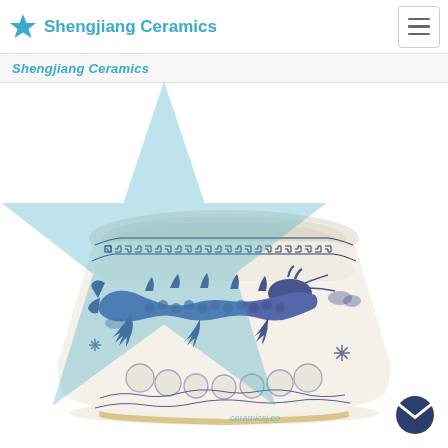Shengjiang Ceramics
Shengjiang Ceramics
[Figure (photo): A blue and white Chinese porcelain ceramic bowl decorated with a dragon motif. The bowl has a Greek key pattern border near the rim and wave patterns at the base. The dragon is depicted in traditional style in cobalt blue on a white crackled glaze background.]